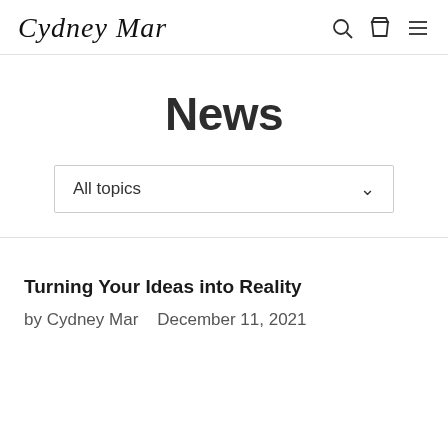Cydney Mar [logo with navigation icons]
News
All topics
Turning Your Ideas into Reality
by Cydney Mar   December 11, 2021